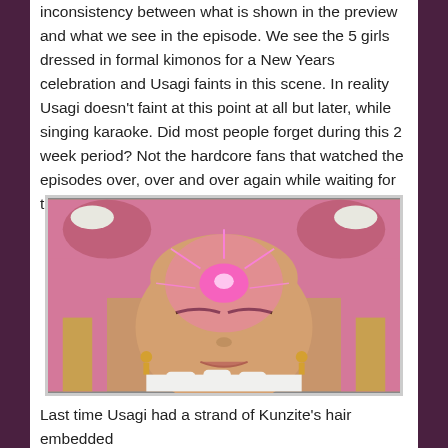inconsistency between what is shown in the preview and what we see in the episode. We see the 5 girls dressed in formal kimonos for a New Years celebration and Usagi faints in this scene. In reality Usagi doesn't faint at this point at all but later, while singing karaoke. Did most people forget during this 2 week period? Not the hardcore fans that watched the episodes over, over and over again while waiting for the next one!!
[Figure (photo): Close-up photo of a person with pink hair styled in bun-like shapes at the top, wearing gold earrings, eyes closed, with a bright pink/magenta glowing light emanating from their forehead, and a white-gloved hand visible at the bottom. Resembles a Sailor Moon live-action character scene.]
Last time Usagi had a strand of Kunzite's hair embedded